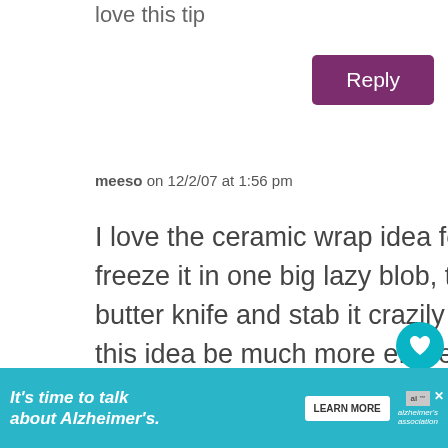love this tip
Reply
meeso on 12/2/07 at 1:56 pm
I love the ceramic wrap idea for storing ginger. I always use to freeze it in one big lazy blob, then when i needed it, I would take a butter knife and stab it crazily to chunk off what I needed 😆 I think this idea be much more efficient...and less
82
[Figure (infographic): WHAT'S NEXT arrow label with thumbnail and text Fresh Lemongrass...]
It's time to talk about Alzheimer's. LEARN MORE